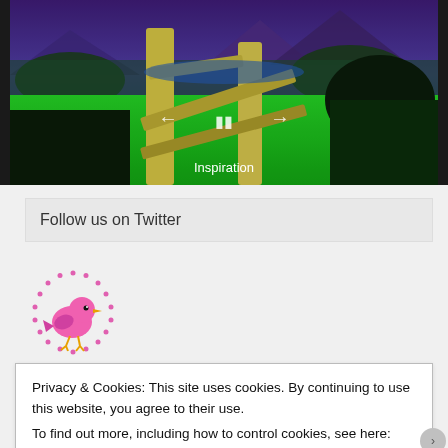[Figure (photo): A scenic landscape photo showing wooden fence posts and rails in the foreground with vivid green grass, dark trees, and purple-blue mountains in the background, displayed in an image slideshow. Navigation arrows and a pause button are visible in the center of the image. The label 'Inspiration' appears at the bottom.]
Follow us on Twitter
[Figure (logo): A pink cartoon bird (Twitter-style) inside a circle made of pink dotted stars, used as a Twitter follow button/logo.]
Privacy & Cookies: This site uses cookies. By continuing to use this website, you agree to their use.
To find out more, including how to control cookies, see here: Cookie Policy
Close and accept